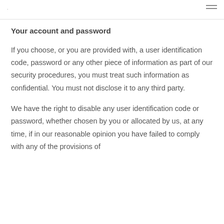·
Your account and password
If you choose, or you are provided with, a user identification code, password or any other piece of information as part of our security procedures, you must treat such information as confidential. You must not disclose it to any third party.
We have the right to disable any user identification code or password, whether chosen by you or allocated by us, at any time, if in our reasonable opinion you have failed to comply with any of the provisions of